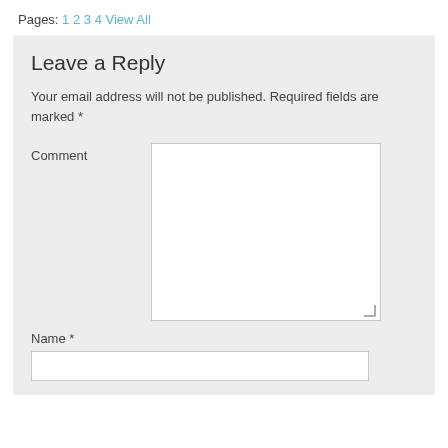Pages: 1 2 3 4 View All
Leave a Reply
Your email address will not be published. Required fields are marked *
Comment
Name *